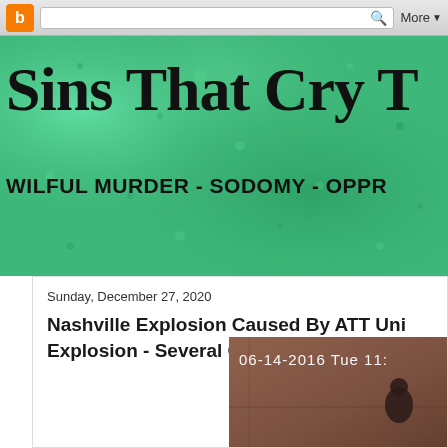[Figure (screenshot): Browser toolbar with Blogger orange icon, search bar with magnifying glass, and More dropdown button]
Sins That Cry T
WILFUL MURDER - SODOMY - OPPR
Sunday, December 27, 2020
Nashville Explosion Caused By ATT Uni Explosion - Several Over Heated Lithium
[Figure (screenshot): CCTV footage timestamp 06-14-2016 Tue 11: showing a dark room with a figure]